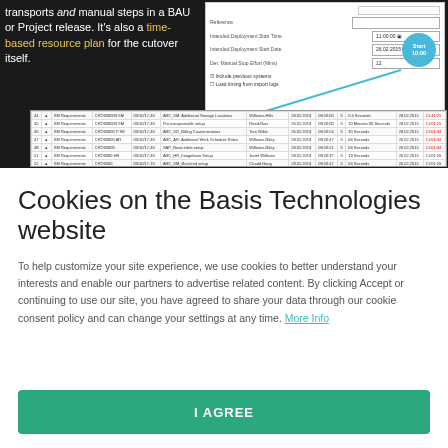[Figure (screenshot): Dark background section showing partial article text about 'transports and manual steps in a BAU or Project release. It's also a time-based resource plan for the cutover itself.' with two software screenshots: a settings/form dialog (top right) and a project task list/table (bottom)]
Cookies on the Basis Technologies website
To help customize your site experience, we use cookies to better understand your interests and enable our partners to advertise related content. By clicking Accept or continuing to use our site, you have agreed to share your data through our cookie consent policy and can change your settings at any time. More Info
I AGREE